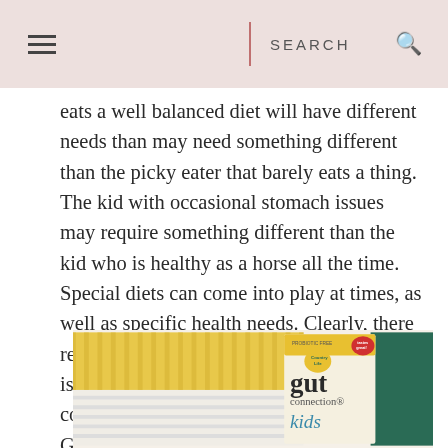SEARCH
eats a well balanced diet will have different needs than may need something different than the picky eater that barely eats a thing. The kid with occasional stomach issues may require something different than the kid who is healthy as a horse all the time. Special diets can come into play at times, as well as specific health needs. Clearly, there really is no one size fits all. However, there is one brand that seems to keep all kids covered, no matter their individual needs: Gut Connection Kids by Country Life.
[Figure (photo): Product photo of Gut Connection Kids by Country Life supplement box, showing yellow and white striped fabric/texture background with green stripe on right, and the product box featuring Country Life logo and 'gut connection kids' branding with 'PROBIOTIC FREE' text]